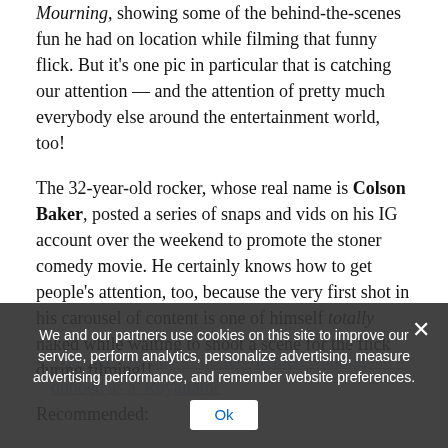Mourning, showing some of the behind-the-scenes fun he had on location while filming that funny flick. But it's one pic in particular that is catching our attention — and the attention of pretty much everybody else around the entertainment world, too!
The 32-year-old rocker, whose real name is Colson Baker, posted a series of snaps and vids on his IG account over the weekend to promote the stoner comedy movie. He certainly knows how to get people's attention, too, because the very first shot in his carousel of content is one of himself totally naked while waiting to shoot a scene for the flick during filming!!
Recommended:
You can now buy a Jubilee-themed walking aid – dubbed as a 'Royaltator'
We and our partners use cookies on this site to improve our service, perform analytics, personalize advertising, measure advertising performance, and remember website preferences.
Ok